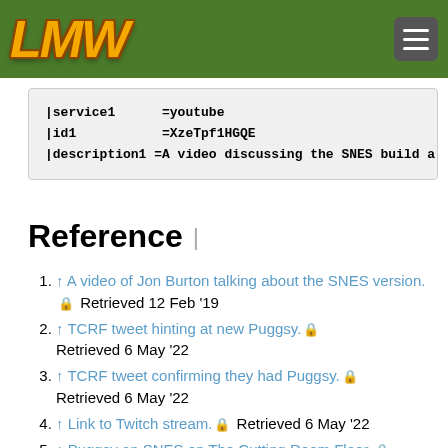LMW logo and navigation header
|service1      =youtube
|id1           =XzeTpf1HGQE
|description1 =A video discussing the SNES build a
Reference |
↑ A video of Jon Burton talking about the SNES version. 🔒 Retrieved 12 Feb '19
↑ TCRF tweet hinting at new Puggsy. 🔒 Retrieved 6 May '22
↑ TCRF tweet confirming they had Puggsy. 🔒 Retrieved 6 May '22
↑ Link to Twitch stream. 🔒 Retrieved 6 May '22
↑ Puggsy on SNES on The Cutting Room Floor. 🔒 Retrieved 6 May '22